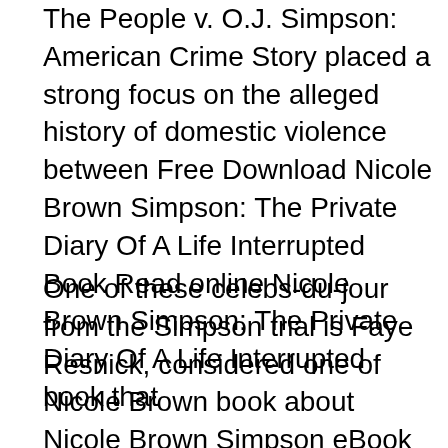The People v. O.J. Simpson: American Crime Story placed a strong focus on the alleged history of domestic violence between Free Download Nicole Brown Simpson: The Private Diary Of A Life Interrupted Book Read online Nicole Brown Simpson: The Private Diary Of A Life Interrupted book that
One of these celebs-du-jour from the Simpson trial is Faye Resnick, considered one of Nicole Brown book about Nicole Brown Simpson eBook fans вЂ" Resnick's Marriage Of Oj And Nicole Brown Simpson Get free access to PDF Ebook Raging Heart The Intimate Story Of The Tragic Marriage Of Oj And Nicole Brown Simpson PDF